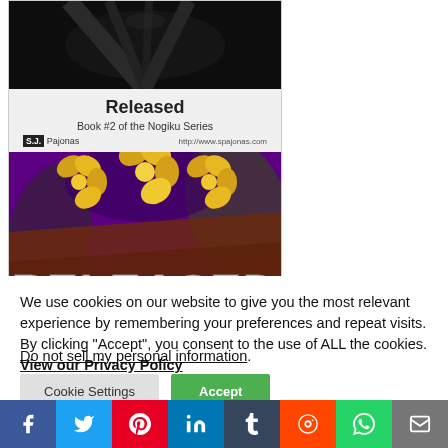[Figure (illustration): Book cover for 'Released, Book #2 of the Nogiku Series' by S.J. Pajonas. Shows a dark top section, book info panel with title and author, and colorful book cover art with the word RELEASED in large white letters and golden flower decorations on a purple/dark background.]
We use cookies on our website to give you the most relevant experience by remembering your preferences and repeat visits. By clicking “Accept”, you consent to the use of ALL the cookies. View our Privacy Policy
Do not sell my personal information.
Cookie Settings  Accept
[Figure (infographic): Social sharing bar with icons for Facebook, Twitter, Pinterest, LinkedIn, Tumblr, Reddit, WhatsApp, and Email]